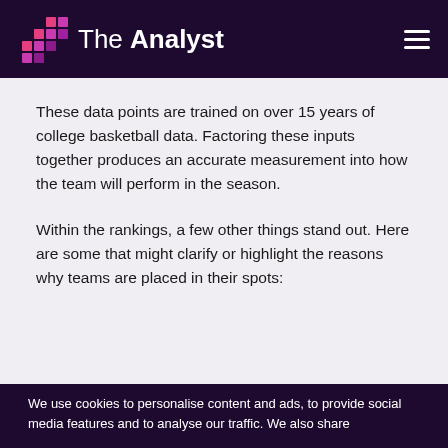The Analyst
These data points are trained on over 15 years of college basketball data. Factoring these inputs together produces an accurate measurement into how the team will perform in the season.
Within the rankings, a few other things stand out. Here are some that might clarify or highlight the reasons why teams are placed in their spots:
We use cookies to personalise content and ads, to provide social media features and to analyse our traffic. We also share